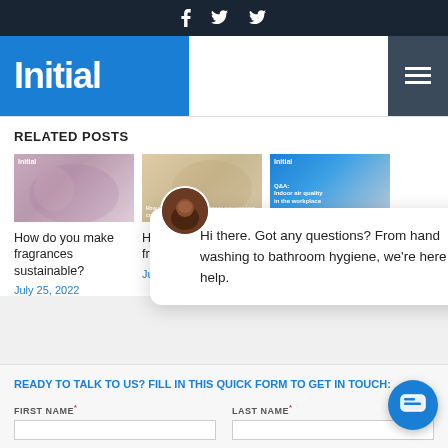Initial — social icons header bar with Facebook, LinkedIn, Twitter
[Figure (logo): Initial company logo — white text on blue background with hamburger menu]
RELATED POSTS
[Figure (photo): Three related post thumbnail images: 1) Two women on sofa with laptop, 2) Man and woman in shopping center, 3) Q&A Indoor air quality in the workplace]
How do you make fragrances sustainable?
July 25, 2022
How a clean and fresh fragrance can reassure customers
July 1
[Q&A] Improving Indoor air quality in the workplace
Hi there. Got any questions? From hand washing to bathroom hygiene, we're here to help.
READY TO TALK TO US? FILL IN THIS QUICK FORM TO GET IN TOUCH:
FIRST NAME*
LAST NAME*